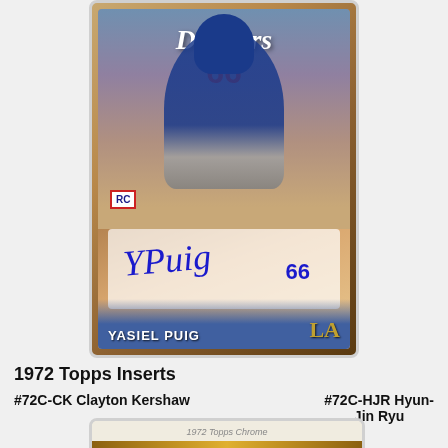[Figure (photo): Topps Chrome baseball card of Yasiel Puig #66, Los Angeles Dodgers, showing player in batting stance wearing blue Dodgers uniform, with RC (rookie card) badge, and blue ink autograph reading 'YPuig 66' on white autograph area. The card has a chrome/metallic finish.]
1972 Topps Inserts
#72C-CK Clayton Kershaw
#72C-HJR Hyun-Jin Ryu
[Figure (photo): Partial view of a 1972 Topps Insert baseball card showing the bottom portion with a gold/yellow ornate banner design.]